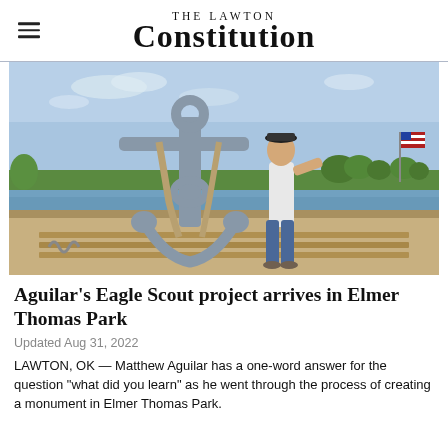The Lawton Constitution
[Figure (photo): A young man in a white t-shirt and jeans stands next to a large gray naval anchor near a body of water. An American flag is visible in the background on the right side. Trees are along the horizon. The anchor is resting on wooden boards with straps around it.]
Aguilar's Eagle Scout project arrives in Elmer Thomas Park
Updated Aug 31, 2022
LAWTON, OK — Matthew Aguilar has a one-word answer for the question "what did you learn" as he went through the process of creating a monument in Elmer Thomas Park.